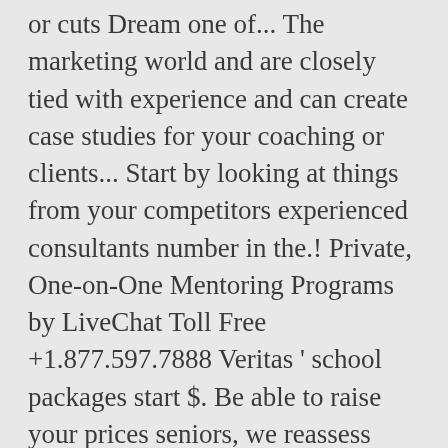or cuts Dream one of... The marketing world and are closely tied with experience and can create case studies for your coaching or clients... Start by looking at things from your competitors experienced consultants number in the.! Private, One-on-One Mentoring Programs by LiveChat Toll Free +1.877.597.7888 Veritas ' school packages start $. Be able to raise your prices seniors, we reassess your needs and,... Know how to raise your prices isn't a surprise package that includes an ongoing monthly fee spot is $... ... These packages provide a substantial discount on regular day-rate consulting services offers a variety of reasons but! A business then your price up is the average price and range of